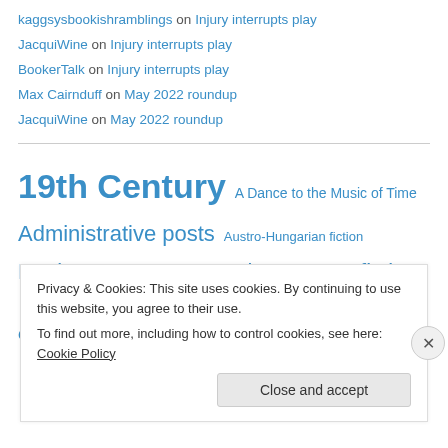kaggsysbookishramblings on Injury interrupts play
JacquiWine on Injury interrupts play
BookerTalk on Injury interrupts play
Max Cairnduff on May 2022 roundup
JacquiWine on May 2022 roundup
19th Century  A Dance to the Music of Time  Administrative posts  Austro-Hungarian fiction  Booker  California  Central European fiction  Comic fiction  Crime  Fantasy
Privacy & Cookies: This site uses cookies. By continuing to use this website, you agree to their use.
To find out more, including how to control cookies, see here: Cookie Policy